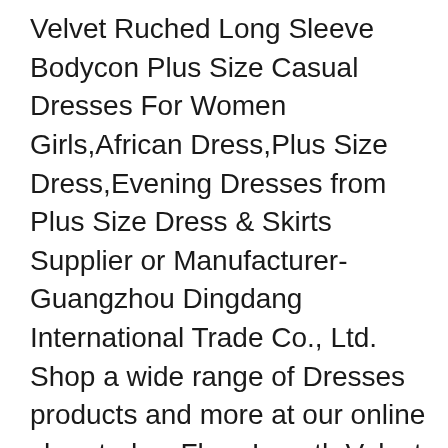Velvet Ruched Long Sleeve Bodycon Plus Size Casual Dresses For Women Girls,African Dress,Plus Size Dress,Evening Dresses from Plus Size Dress & Skirts Supplier or Manufacturer-Guangzhou Dingdang International Trade Co., Ltd. Shop a wide range of Dresses products and more at our online shop today. Floor Length Velvet Dress Rating Required Select Rating 1 star (worst) 2 stars 3 stars (average) 4 stars 5 stars (best) Name It's true to size, I bought it bigger thinking it would be too small but I ended up getting it altered because the size was truly what it was supposed to be, which I find to be pretty rare with online shopping. Click & Collect. We have selected 9 good styles for you. More Details>> US$ 111. Floor Length Velvet and Sequin Evening